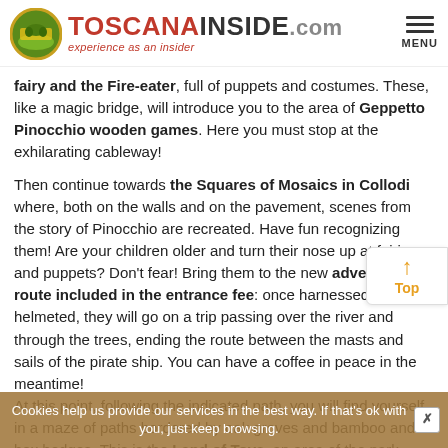TOSCANAINSIDE.com experience as an insider
fairy and the Fire-eater, full of puppets and costumes. These, like a magic bridge, will introduce you to the area of Geppetto Pinocchio wooden games. Here you must stop at the exhilarating cableway!

Then continue towards the Squares of Mosaics in Collodi where, both on the walls and on the pavement, scenes from the story of Pinocchio are recreated. Have fun recognizing them! Are your children older and turn their nose up at fairies and puppets? Don't fear! Bring them to the new adventure route included in the entrance fee: once harnessed and helmeted, they will go on a trip passing over the river and through the trees, ending the route between the masts and sails of the pirate ship. You can have a coffee in peace in the meantime!
At this point, following the indicated path, you will find yourself in a maze of paths bordered by oak groves and bamboo and box hedges. This is the Land of Toys, an area of the park completed in 1972 which exhibits 21 works by the sculptor Pietro Consagra.
Cookies help us provide our services in the best way. If that's ok with you, just keep browsing.